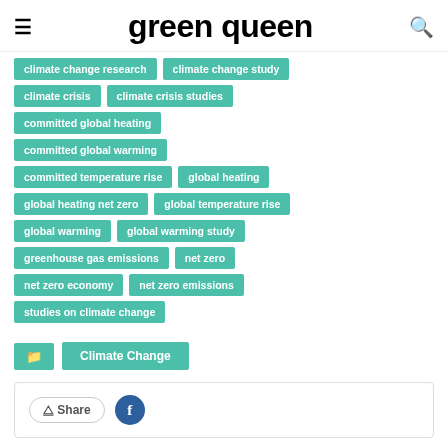green queen
climate change research
climate change study
climate crisis
climate crisis studies
committed global heating
committed global warming
committed temperature rise
global heating
global heating net zero
global temperature rise
global warming
global warming study
greenhouse gas emissions
net zero
net zero economy
net zero emissions
studies on climate change
Climate Change
Share